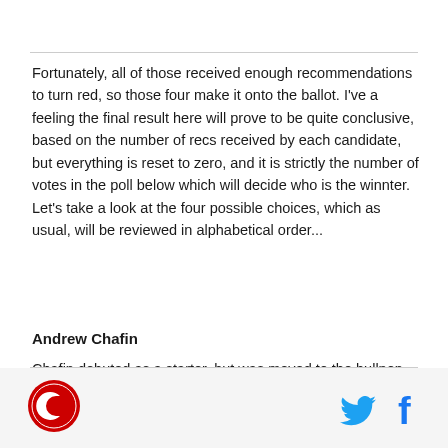Fortunately, all of those received enough recommendations to turn red, so those four make it onto the ballot. I've a feeling the final result here will prove to be quite conclusive, based on the number of recs received by each candidate, but everything is reset to zero, and it is strictly the number of votes in the poll below which will decide who is the winnter. Let's take a look at the four possible choices, which as usual, will be reviewed in alphabetical order...
Andrew Chafin
Chafin debuted as a starter, but was moved to the bullpen for 2015, and gave the D-backs an extremely